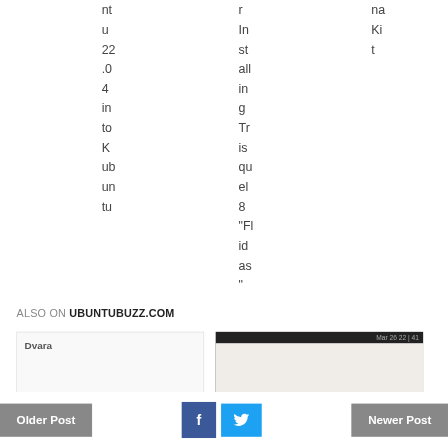nt u 22 .0 4 in to K ub un tu
r In st all in g Tr is qu el 8 "Fl id as "
na Ki t
ALSO ON UBUNTUBUZZ.COM
[Figure (screenshot): Bottom navigation bar with Older Post button, Facebook and Twitter share buttons, and Newer Post button, plus two article preview thumbnails below]
Older Post
f
Newer Post